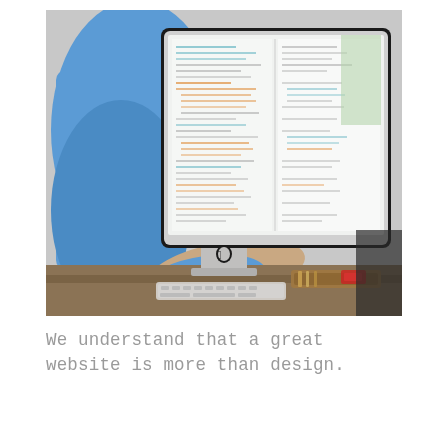[Figure (photo): A person wearing a blue hoodie sits at a desk in front of a large Apple iMac monitor displaying code in a text editor. On the desk there is a keyboard, a wooden pencil tray with pens, and a red object. A window with greenery is visible in the background.]
We understand that a great website is more than design.